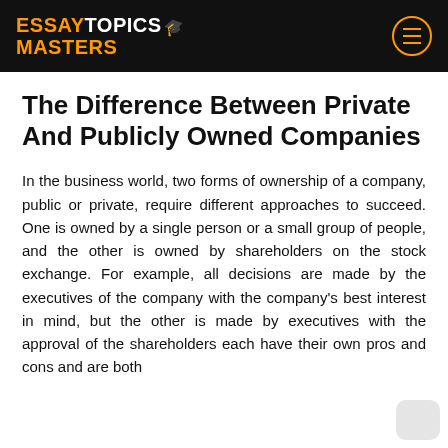ESSAYTOPICS MASTERS
The Difference Between Private And Publicly Owned Companies
In the business world, two forms of ownership of a company, public or private, require different approaches to succeed. One is owned by a single person or a small group of people, and the other is owned by shareholders on the stock exchange. For example, all decisions are made by the executives of the company with the company's best interest in mind, but the other is made by executives with the approval of the shareholders each have their own pros and cons and are both